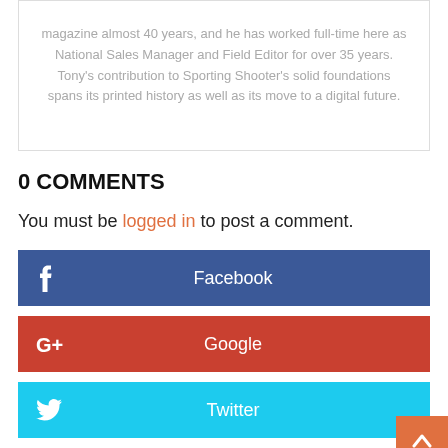magazine almost 40 years, and he has worked full-time here as National Sales Manager and Field Editor for over 35 years. Tony's contribution to Sporting Shooter's solid foundations spans its printed history as well as its move to a digital future.
0 COMMENTS
You must be logged in to post a comment.
[Figure (other): Facebook social login button]
[Figure (other): Google+ social login button]
[Figure (other): Twitter social login button]
[Figure (other): Pinterest social login button (partial)]
[Figure (other): Back to top orange button with upward arrow]